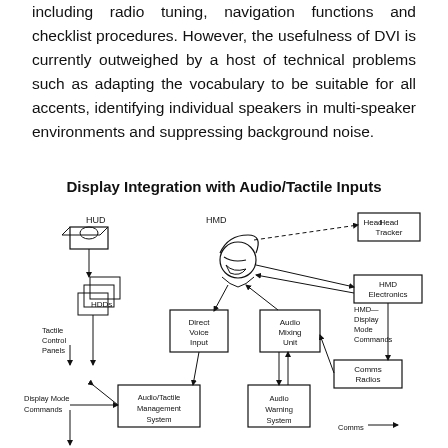including radio tuning, navigation functions and checklist procedures. However, the usefulness of DVI is currently outweighed by a host of technical problems such as adapting the vocabulary to be suitable for all accents, identifying individual speakers in multi-speaker environments and suppressing background noise.
Display Integration with Audio/Tactile Inputs
[Figure (schematic): Block diagram showing Display Integration with Audio/Tactile Inputs. Components include HUD, HMD (worn by a pilot figure), Head Tracker, HMD Electronics, HMD Display Mode Commands, HDDs (head-down displays), Tactile Control Panels, Direct Voice Input, Audio Mixing Unit, Comms Radios, Audio/Tactile Management System, Audio Warning System, Display Mode Commands, and Comms. Arrows show interconnections between all components.]